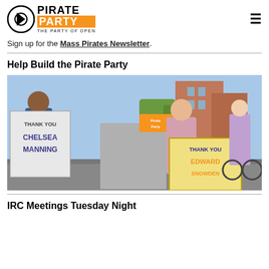PIRATE PARTY — THE PARTY OF OPEN
Sign up for the Mass Pirates Newsletter.
Help Build the Pirate Party
[Figure (photo): People marching in a street parade holding signs reading 'Thank You Chelsea Manning' and 'Thank You Edward Snowden', with Pirate Party banners visible in the background and brick buildings lining the street.]
IRC Meetings Tuesday Night